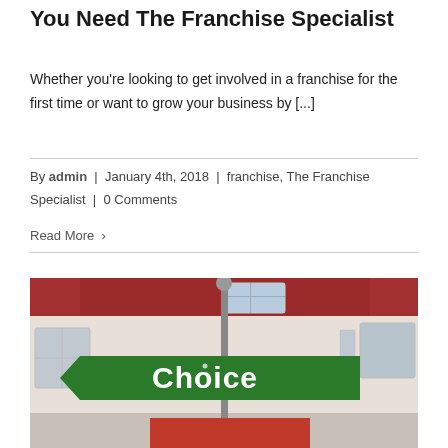You Need The Franchise Specialist
Whether you're looking to get involved in a franchise for the first time or want to grow your business by [...]
By admin | January 4th, 2018 | franchise, The Franchise Specialist | 0 Comments
Read More >
[Figure (photo): Street sign showing 'Choice' in white text on a green arrow-shaped sign, mounted on a pole in front of a building with a red awning.]